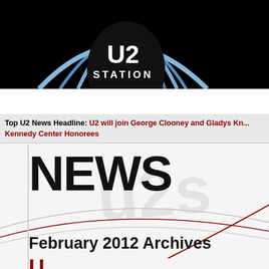[Figure (logo): U2 Station logo — white arch shapes over black background with U2 STATION text in white]
HOME | NEWS | TOURS | FORUM
Top U2 News Headline: U2 will join George Clooney and Gladys Kn... Kennedy Center Honorees
NEWS
February 2012 Archives